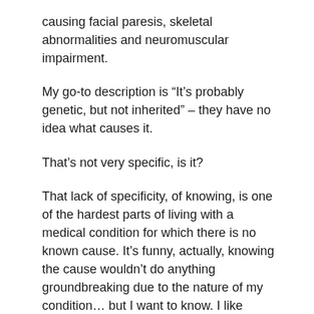causing facial paresis, skeletal abnormalities and neuromuscular impairment.
My go-to description is “It’s probably genetic, but not inherited” – they have no idea what causes it.
That’s not very specific, is it?
That lack of specificity, of knowing, is one of the hardest parts of living with a medical condition for which there is no known cause. It’s funny, actually, knowing the cause wouldn’t do anything groundbreaking due to the nature of my condition… but I want to know. I like knowing stuff.
Knowing what has “caused” my condition would, in a way, help me to better know myself.
So the question is: how do researchers research these rare, complicated disorders where there’s no clear genetic